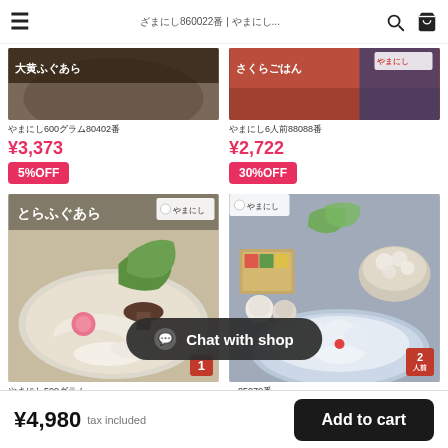≡  やまにし860022番 | やまにし...  🔍  🛒
[Figure (photo): Partial view of food product 1 top image (cropped at top)]
やまにし600グラム80402番
¥3,373
5%OFF
[Figure (photo): Partial view of food product 2 top image (cropped at top)]
やまにし6人前88088番
¥2,722
30%OFF
[Figure (photo): Torafugu ara (tiger puffer fish parts) with vegetables on a plate, label: とらふぐあら, badge showing 1]
やまにし500グ…
¥4,830
[Figure (photo): Fugu (puffer fish) set with sashimi arranged on blue and white plate, fugu pieces in bowl, condiments, badge showing 2人前, product 85070番]
…85070番
¥14,250
Chat with shop
¥4,980  tax included    Add to cart